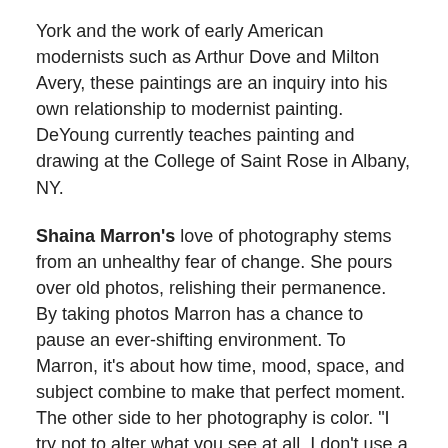York and the work of early American modernists such as Arthur Dove and Milton Avery, these paintings are an inquiry into his own relationship to modernist painting. DeYoung currently teaches painting and drawing at the College of Saint Rose in Albany, NY.
Shaina Marron's love of photography stems from an unhealthy fear of change. She pours over old photos, relishing their permanence. By taking photos Marron has a chance to pause an ever-shifting environment. To Marron, it's about how time, mood, space, and subject combine to make that perfect moment. The other side to her photography is color. "I try not to alter what you see at all. I don't use a flash, a filter or other digital means. I love it that when the lights go down in a theater it becomes a completely different place or the way a street lamp can transform the world." Marron currently lives in Brooklyn, New York. She has a degree from the State University of New York, Albany in Photography and was voted Best Local Visual Artist 2004 by Metroland.